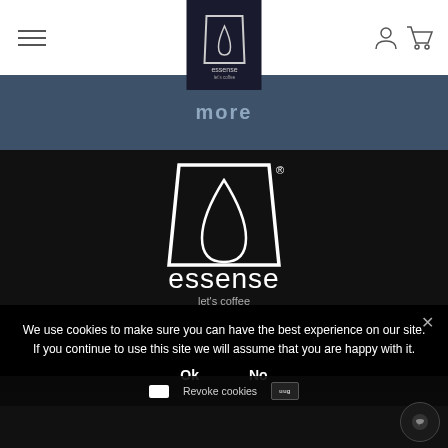Essense Coffee navigation bar with hamburger menu, logo, user icon, and cart icon
more
[Figure (logo): Essense let's coffee large white logo on black background — cup shape with drop inside]
We use cookies to make sure you can have the best experience on our site. If you continue to use this site we will assume that you are happy with it.
Ok   No
Revoke cookies